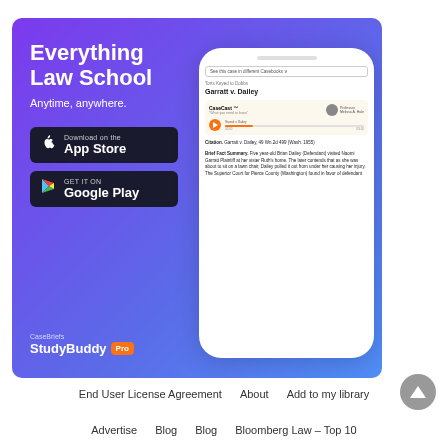[Figure (screenshot): Advertisement banner for CaseBriefs StudyBuddy Pro app showing 'Everything Law School, Anytime, anywhere.' with App Store and Google Play download buttons, and a phone mockup showing Garratt v. Dailey case with CaseCast audio player.]
End User License Agreement   About   Add to my library   Advertise   Blog   Blog   Bloomberg Law – Top 10